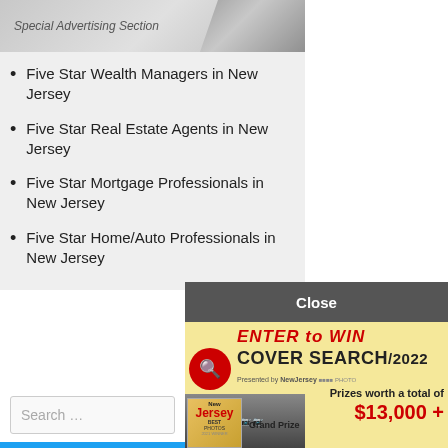Special Advertising Section
Five Star Wealth Managers in New Jersey
Five Star Real Estate Agents in New Jersey
Five Star Mortgage Professionals in New Jersey
Five Star Home/Auto Professionals in New Jersey
[Figure (screenshot): Social media follow buttons: Facebook Like us, Twitter Follow, Instagram Follow us, Pinterest Follow us]
[Figure (screenshot): Close bar overlay with text 'Close' and advertisement for Cover Search 2022 contest with prize of $13,000+, presented by New Jersey magazine, showing photographers]
Search ...